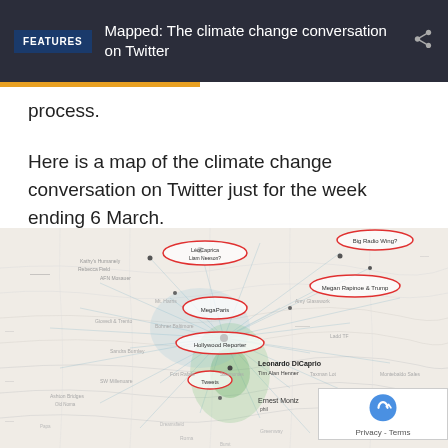FEATURES  Mapped: The climate change conversation on Twitter
process.
Here is a map of the climate change conversation on Twitter just for the week ending 6 March.
[Figure (map): A network map overlaid on a geographic map showing the climate change conversation on Twitter for the week ending 6 March. Multiple nodes are highlighted with red ovals indicating prominent users/accounts including Leonardo DiCaprio, Hollywood Reporter, Megan Rapinoe & Trump, and others. The map shows geographic locations across what appears to be the United States with blue and green network connection lines.]